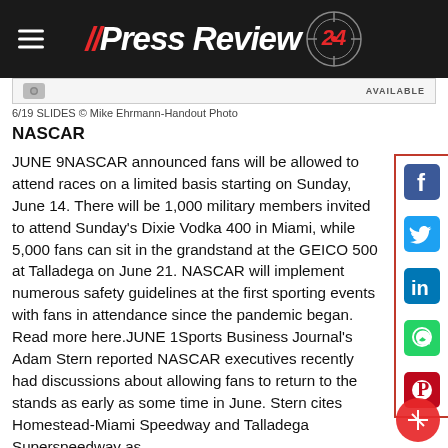// PressReview 24
6/19 SLIDES © Mike Ehrmann-Handout Photo
NASCAR
JUNE 9NASCAR announced fans will be allowed to attend races on a limited basis starting on Sunday, June 14. There will be 1,000 military members invited to attend Sunday's Dixie Vodka 400 in Miami, while 5,000 fans can sit in the grandstand at the GEICO 500 at Talladega on June 21. NASCAR will implement numerous safety guidelines at the first sporting events with fans in attendance since the pandemic began. Read more here.JUNE 1Sports Business Journal's Adam Stern reported NASCAR executives recently had discussions about allowing fans to return to the stands as early as some time in June. Stern cites Homestead-Miami Speedway and Talladega Superspeedway as